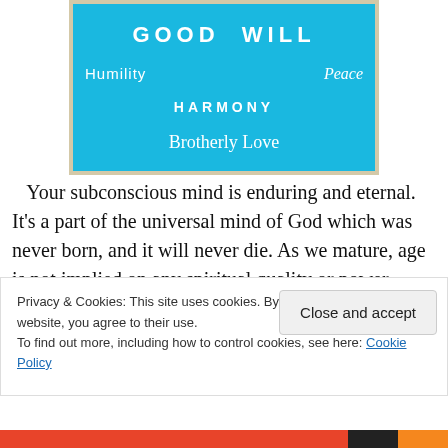[Figure (illustration): Blue framed poster with white text showing spiritual virtues: GOOD WILL (large bold), Humility (left), Peace (right, italic), HARMONY (center bold), Brotherly Love (serif center)]
Your subconscious mind is enduring and eternal. It's a part of the universal mind of God which was never born, and it will never die. As we mature, age is not implied on any spiritual quality or power. Patience, humility, good will, kindness, peace, harmony, and brotherly love are
Privacy & Cookies: This site uses cookies. By continuing to use this website, you agree to their use.
To find out more, including how to control cookies, see here: Cookie Policy
Close and accept